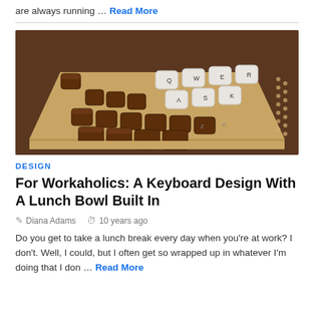are always running … Read More
[Figure (photo): A keyboard made from chocolate pieces on a graham cracker/biscuit base, with some white and brown chocolate key caps, on a wooden surface.]
DESIGN
For Workaholics: A Keyboard Design With A Lunch Bowl Built In
Diana Adams   10 years ago
Do you get to take a lunch break every day when you’re at work? I don’t. Well, I could, but I often get so wrapped up in whatever I’m doing that I don … Read More